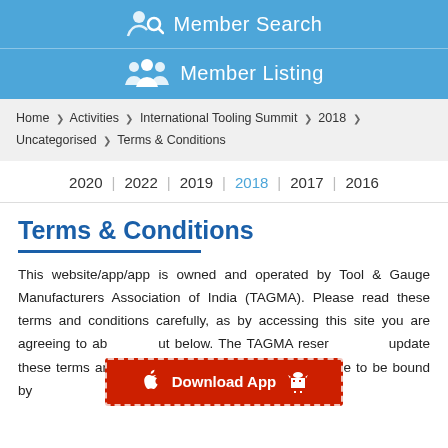Member Search
Member Listing
Home > Activities > International Tooling Summit > 2018 > Uncategorised > Terms & Conditions
2020 | 2022 | 2019 | 2018 | 2017 | 2016
Terms & Conditions
This website/app/app is owned and operated by Tool & Gauge Manufacturers Association of India (TAGMA). Please read these terms and conditions carefully, as by accessing this site you are agreeing to ab[ide by the terms set o]ut below. The TAGMA reser[ves the right to ]update these terms and conditions at any time and you agree to be bound by
[Figure (infographic): Download App banner with Apple and Android icons on red background with dashed border]